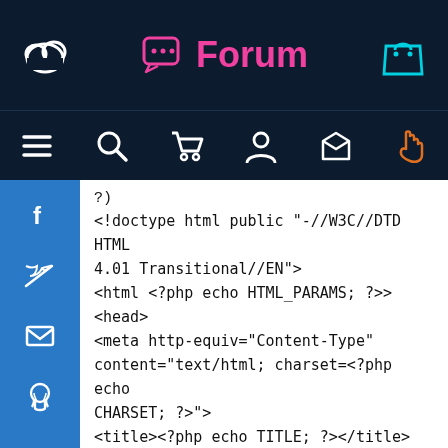Forum
[Figure (screenshot): Website forum navigation bar with logo, Forum title with chat icon, and shopping bag icon on dark navy background]
[Figure (screenshot): Secondary navigation bar with hamburger menu, search, cart, user, home, and pointer icons on dark navy background]
[Figure (screenshot): Blue social sidebar with Facebook, Twitter, email, and GitHub icons]
?>
<!doctype html public "-//W3C//DTD HTML 4.01 Transitional//EN">
<html <?php echo HTML_PARAMS; ?>>
<head>
<meta http-equiv="Content-Type" content="text/html; charset=<?php echo CHARSET; ?>">
<title><?php echo TITLE; ?></title>
<base href="<?php echo (($request_type == 'SSL') ? HTTPS_SERVER : HTTP_SERVER) . DIR_WS_CATALOG; ?>">
<link rel="stylesheet" type="text/css" href="stylesheet.css">
</head>
<body marginwidth="0" marginheight="0"